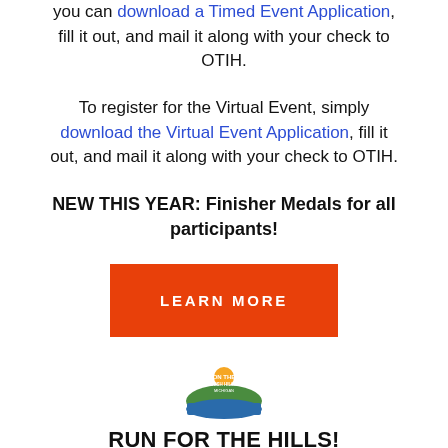you can download a Timed Event Application, fill it out, and mail it along with your check to OTIH.
To register for the Virtual Event, simply download the Virtual Event Application, fill it out, and mail it along with your check to OTIH.
NEW THIS YEAR: Finisher Medals for all participants!
[Figure (other): Red button with text LEARN MORE]
[Figure (logo): On The Irish Hills Michigan logo with RUN FOR THE HILLS! text and 5K +1 Mile RUN / WALK—Timed Race subtitle]